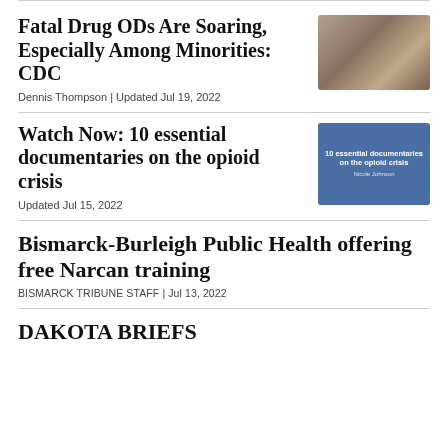Fatal Drug ODs Are Soaring, Especially Among Minorities: CDC
Dennis Thompson | Updated Jul 19, 2022
[Figure (photo): Photo of drug paraphernalia including a syringe and pills on a surface with a hand visible]
Watch Now: 10 essential documentaries on the opioid crisis
Updated Jul 15, 2022
[Figure (screenshot): Blue thumbnail image reading '10 essential documentaries on the opioid crisis' with text 'Nicole Johnson']
Bismarck-Burleigh Public Health offering free Narcan training
BISMARCK TRIBUNE STAFF | Jul 13, 2022
DAKOTA BRIEFS